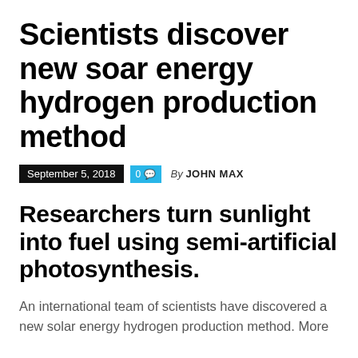Scientists discover new soar energy hydrogen production method
September 5, 2018  0  By JOHN MAX
Researchers turn sunlight into fuel using semi-artificial photosynthesis.
An international team of scientists have discovered a new solar energy hydrogen production method. More